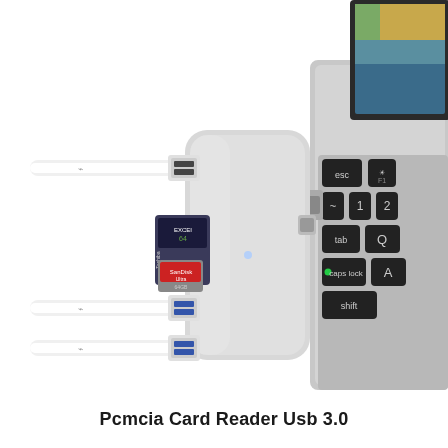[Figure (photo): Product photo of a silver USB-C hub (PCMCIA Card Reader USB 3.0) plugged into the left side of a MacBook. The hub has three USB-A ports with white cables connected, an SD card slot with a Toshiba memory card and a SanDisk Ultra 64GB microSD card inserted, and a USB-C connector plugging into the laptop. The right side shows a MacBook keyboard with black keys including esc, F1, tilde, 1, 2, tab, Q, caps lock (with green LED), A, and shift keys visible, and the laptop screen shown in the upper right corner displaying an image.]
Pcmcia Card Reader Usb 3.0